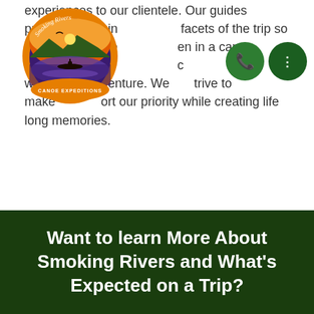[Figure (logo): Smoking Rivers Canoe Expeditions circular logo with sunset/river scene]
experiences to our clientele. Our guides provide expert in facets of the trip so that even people en in a canoe before feel their wilderness adventure. We strive to make comfort our priority while creating life long memories.
From Maine to Texas canoe trips our guides only use traditional canoe tripping equipment to create culinary masterpieces and pride themselves on their wilderness cuisine.
Want to learn More About Smoking Rivers and What's Expected on a Trip?